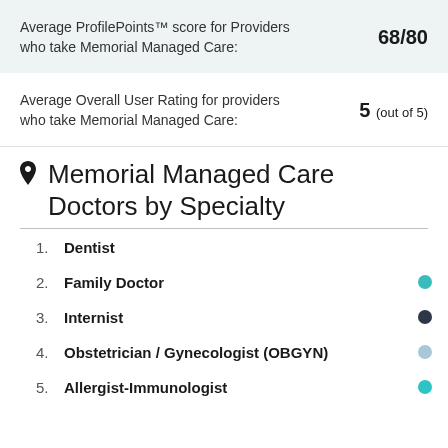Average ProfilePoints™ score for Providers who take Memorial Managed Care: 68/80
Average Overall User Rating for providers who take Memorial Managed Care: 5 (out of 5)
Memorial Managed Care Doctors by Specialty
1. Dentist
2. Family Doctor
3. Internist
4. Obstetrician / Gynecologist (OBGYN)
5. Allergist-Immunologist